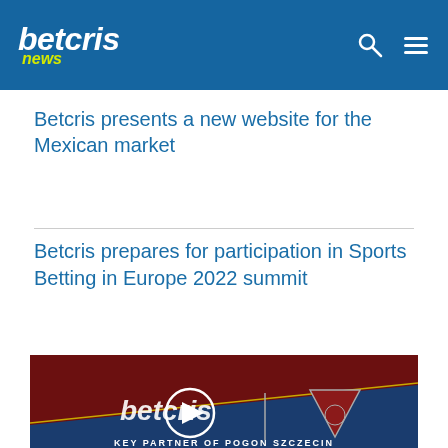betcris news
Betcris presents a new website for the Mexican market
Betcris prepares for participation in Sports Betting in Europe 2022 summit
[Figure (screenshot): Video thumbnail showing Betcris and Pogoń Szczecin partnership with play button overlay. Dark red and navy blue background with betcris logo and a triangular club crest. Text at bottom reads KEY PARTNER OF POGON SZCZECIN.]